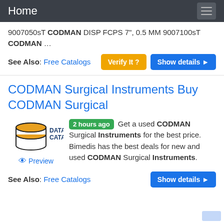Home
9007050sT CODMAN DISP FCPS 7", 0.5 MM 9007100sT CODMAN …
See Also: Free Catalogs
CODMAN Surgical Instruments Buy CODMAN Surgical
2 hours ago Get a used CODMAN Surgical Instruments for the best price. Bimedis has the best deals for new and used CODMAN Surgical Instruments.
See Also: Free Catalogs